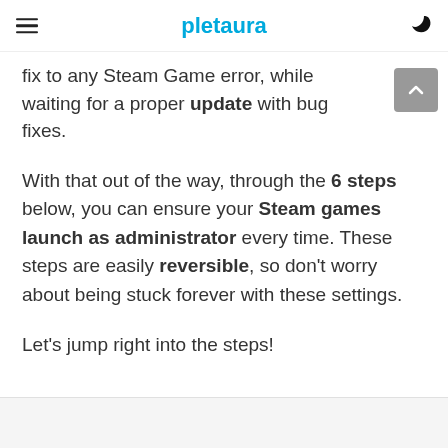pletaura
fix to any Steam Game error, while waiting for a proper update with bug fixes.
With that out of the way, through the 6 steps below, you can ensure your Steam games launch as administrator every time. These steps are easily reversible, so don't worry about being stuck forever with these settings.
Let's jump right into the steps!